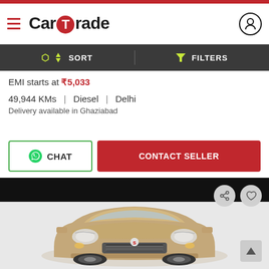[Figure (screenshot): CarTrade website header with logo and hamburger menu and user icon]
SORT
FILTERS
EMI starts at ₹5,033
49,944 KMs  |  Diesel  |  Delhi
Delivery available in Ghaziabad
CHAT
CONTACT SELLER
[Figure (photo): Front view of a Maruti Suzuki Dzire (champagne/gold color) in a studio setting with grey background]